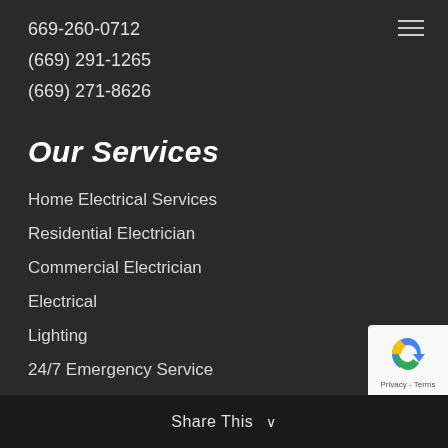669-260-0712
(669) 291-1265
(669) 271-8626
Our Services
Home Electrical Services
Residential Electrician
Commercial Electrician
Electrical
Lighting
24/7 Emergency Service
General Contracting
Electrical Repair
Share This ∨